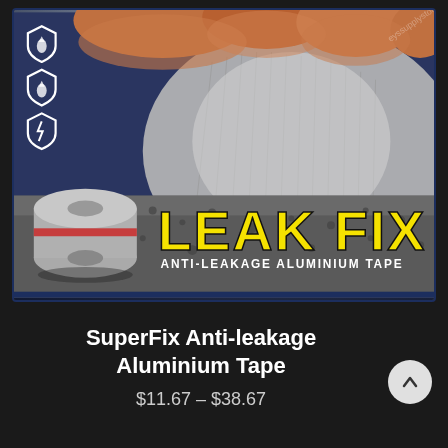[Figure (photo): Product photo showing hands peeling back metallic aluminium tape from a gravel/concrete surface. A roll of silver tape is visible lower left. Bold yellow 'LEAK FIX' text overlaid with 'ANTI-LEAKAGE ALUMINIUM TAPE' subtitle. Shield icons top-left. Watermark text top-right. Dark navy border.]
SuperFix Anti-leakage Aluminium Tape
$11.67 – $38.67